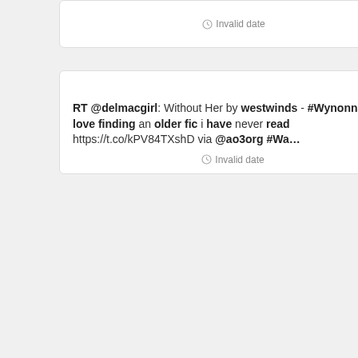Invalid date
30% RT @delmacgirl: Without Her by westwinds - #WynonnaEarp love finding an older fic i have never read https://t.co/kPV84TXshD via @ao3org #Wa…
Invalid date
30% RT @delmacgirl: Without Her by westwinds - #WynonnaEarp love finding an older fic i have never read https://t.co/kPV84TXshD via @ao3org #Wa…